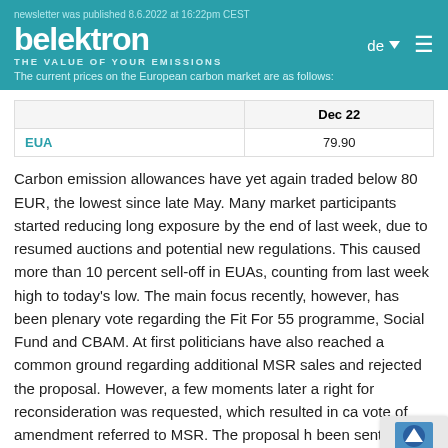newsletter was published 8.6.2022 at 16:22pm CEST
belektron — THE VALUE OF YOUR EMISSIONS
The current prices on the European carbon market are as follows:
|  | Dec 22 |
| --- | --- |
| EUA | 79.90 |
Carbon emission allowances have yet again traded below 80 EUR, the lowest since late May. Many market participants started reducing long exposure by the end of last week, due to resumed auctions and potential new regulations. This caused more than 10 percent sell-off in EUAs, counting from last week high to today's low. The main focus recently, however, has been plenary vote regarding the Fit For 55 programme, Social Fund and CBAM. At first politicians have also reached a common ground regarding additional MSR sales and rejected the proposal. However, a few moments later a right for reconsideration was requested, which resulted in ca... vote of amendment referred to MSR. The proposal h... been sent back to ENVI and it was taken from on the...